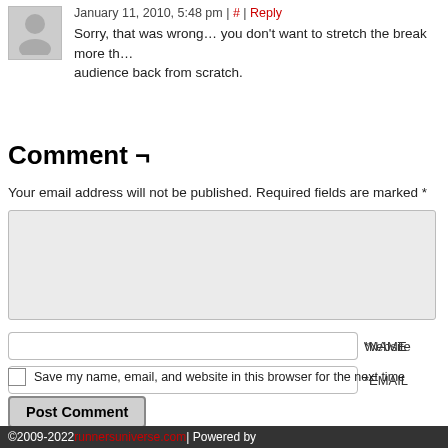January 11, 2010, 5:48 pm | # | Reply
Sorry, that was wrong… you don't want to stretch the break more th… audience back from scratch.
Comment ¬
Your email address will not be published. Required fields are marked *
*NAME
*EMAIL
Website
Save my name, email, and website in this browser for the next time
Post Comment
This site uses Akismet to reduce spam. Learn how your comment data
©2009-2022 runnersuniverse.com | Powered by